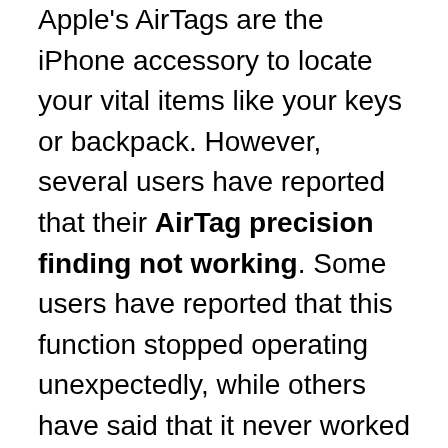Apple's AirTags are the iPhone accessory to locate your vital items like your keys or backpack. However, several users have reported that their AirTag precision finding not working. Some users have reported that this function stopped operating unexpectedly, while others have said that it never worked properly. Users have reported receiving the following error message, for example: